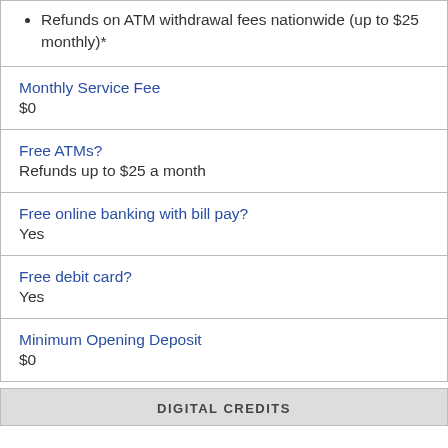Refunds on ATM withdrawal fees nationwide (up to $25 monthly)*
| Monthly Service Fee | $0 |
| Free ATMs? | Refunds up to $25 a month |
| Free online banking with bill pay? | Yes |
| Free debit card? | Yes |
| Minimum Opening Deposit | $0 |
DIGITAL CREDITS